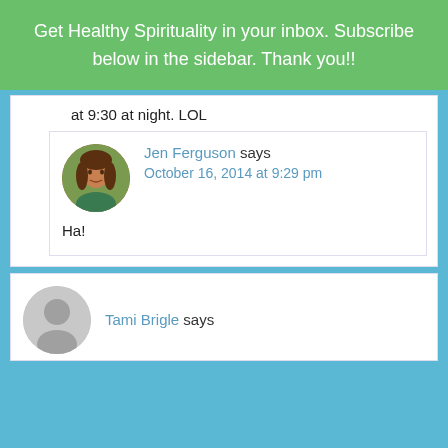Get Healthy Spirituality in your inbox. Subscribe below in the sidebar. Thank you!!
at 9:30 at night. LOL
Jen Ferguson says
October 16, 2014 at 9:29 pm
Ha!
Tami Brigle says